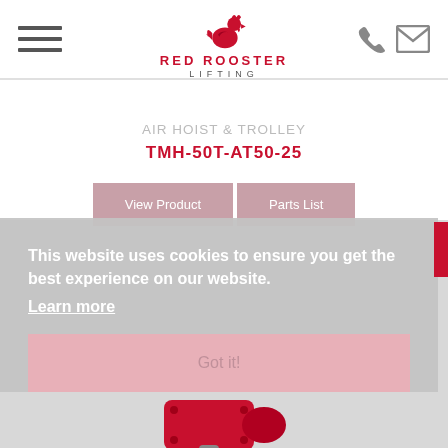[Figure (logo): Red Rooster Lifting logo with rooster icon and text]
AIR HOIST & TROLLEY
TMH-50T-AT50-25
View Product
Parts List
This website uses cookies to ensure you get the best experience on our website.
Learn more
Got it!
[Figure (photo): Red air hoist and trolley equipment photo]